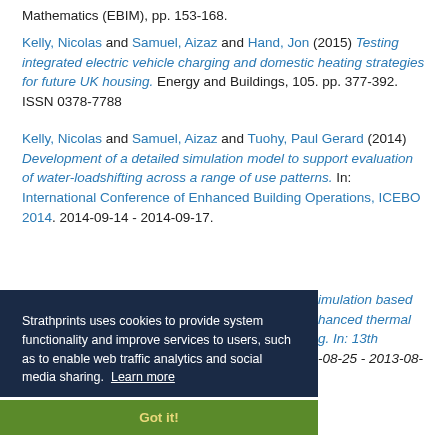Mathematics (EBIM), pp. 153-168.
Kelly, Nicolas and Samuel, Aizaz and Hand, Jon (2015) Testing integrated electric vehicle charging and domestic heating strategies for future UK housing. Energy and Buildings, 105. pp. 377-392. ISSN 0378-7788
Kelly, Nicolas and Samuel, Aizaz and Tuohy, Paul Gerard (2014) Development of a detailed simulation model to support evaluation of water-loadshifting across a range of use patterns. In: International Conference of Enhanced Building Operations, ICEBO 2014. 2014-09-14 - 2014-09-17.
Strathprints uses cookies to provide system functionality and improve services to users, such as to enable web traffic analytics and social media sharing. Learn more
Got it!